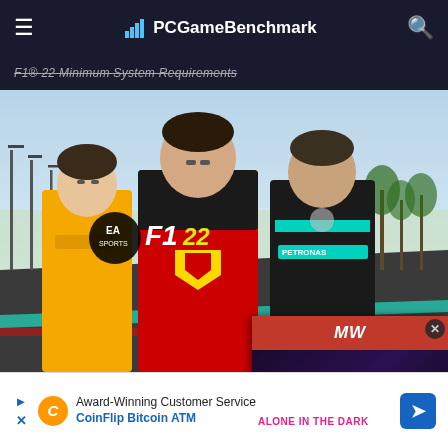PCGameBenchmark
F1® 22 System Requirements
[Figure (screenshot): F1® 22 game cover art showing three Formula 1 drivers in racing suits on a race track with the EA Sports F1 22 logo]
F1® 22 System Requirements
[Figure (screenshot): Video ad overlay with MW logo (red bar) and gaming video for 'Alone in the Dark Remake' with play button]
Award-Winning Customer Service
CoinFlip Bitcoin ATM